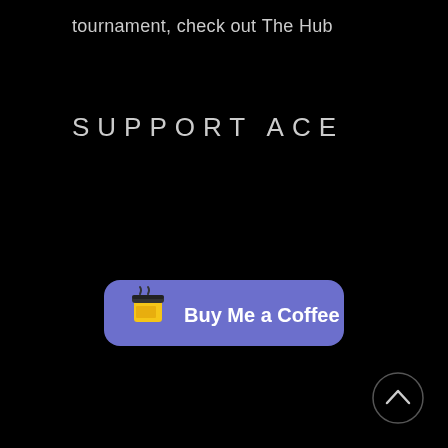tournament, check out The Hub
SUPPORT ACE
[Figure (other): Buy Me a Coffee button with coffee cup emoji]
[Figure (other): Scroll to top arrow button (circle with upward chevron)]